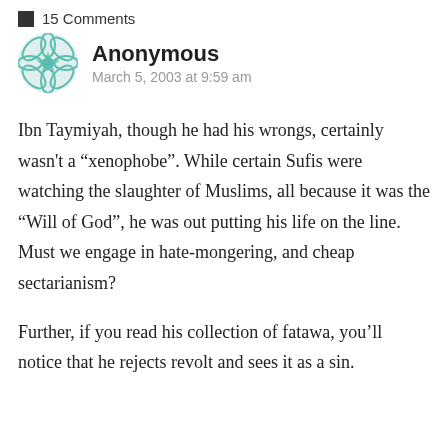15 Comments
Anonymous
March 5, 2003 at 9:59 am
Ibn Taymiyah, though he had his wrongs, certainly wasn't a “xenophobe”. While certain Sufis were watching the slaughter of Muslims, all because it was the “Will of God”, he was out putting his life on the line. Must we engage in hate-mongering, and cheap sectarianism?
Further, if you read his collection of fatawa, you’ll notice that he rejects revolt and sees it as a sin.